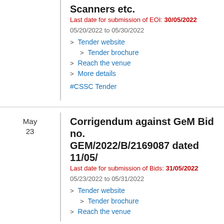Scanners etc.
Last date for submission of EOI: 30/05/2022
05/20/2022 to 05/30/2022
> Tender website
> Tender brochure
> Reach the venue
> More details
#CSSC Tender
May 23
Corrigendum against GeM Bid no. GEM/2022/B/2169087 dated 11/05/
Last date for submission of Bids: 31/05/2022
05/23/2022 to 05/31/2022
> Tender website
> Tender brochure
> Reach the venue